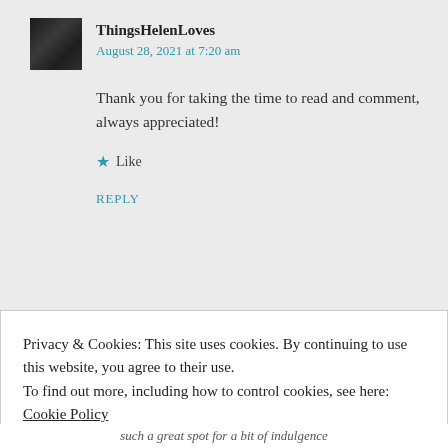ThingsHelenLoves
August 28, 2021 at 7:20 am
Thank you for taking the time to read and comment, always appreciated!
★ Like
REPLY
Privacy & Cookies: This site uses cookies. By continuing to use this website, you agree to their use. To find out more, including how to control cookies, see here: Cookie Policy
CLOSE AND ACCEPT
such a great spot for a bit of indulgence